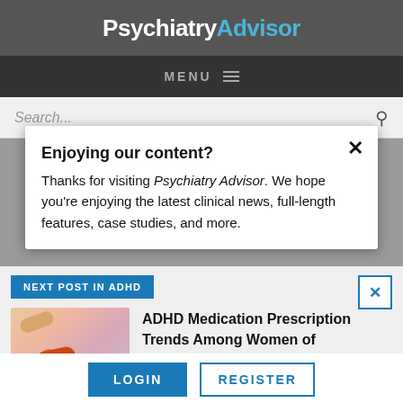Psychiatry Advisor
MENU
Search...
Enjoying our content?
Thanks for visiting Psychiatry Advisor. We hope you're enjoying the latest clinical news, full-length features, case studies, and more.
NEXT POST IN ADHD
[Figure (photo): Hands holding orange prescription pill bottles]
ADHD Medication Prescription Trends Among Women of Reproductive Age
LOGIN
REGISTER